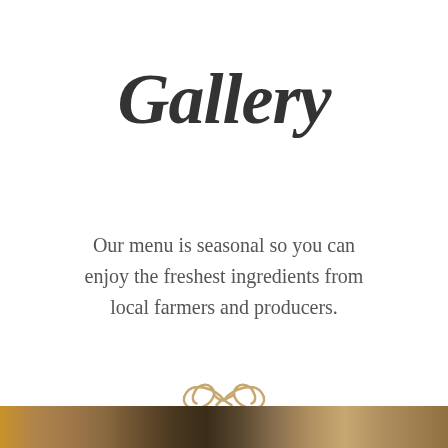Gallery
Our menu is seasonal so you can enjoy the freshest ingredients from local farmers and producers.
[Figure (illustration): Decorative ornamental flourish/scroll design in golden/tan color]
[Figure (photo): Strip of food photography at the bottom of the page showing golden/warm colored food]